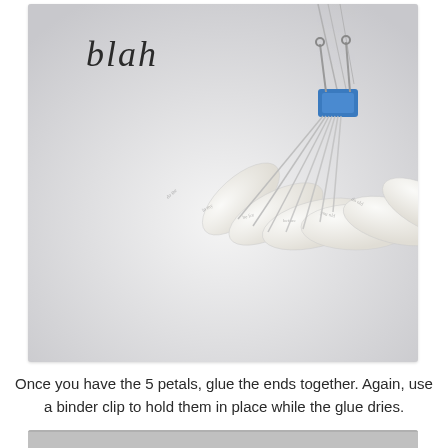[Figure (photo): A photo of paper petals folded from book pages, fanned out and held together at the base with a blue binder clip. Silver wire or chain is attached at the top. The word 'blah' appears in italic text at the top left of the photo. Background is light grey/white.]
Once you have the 5 petals, glue the ends together. Again, use a binder clip to hold them in place while the glue dries.
[Figure (photo): Bottom edge of another craft photo, partially cut off at the bottom of the page.]